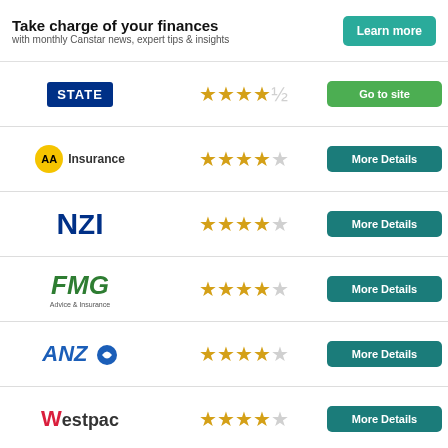Take charge of your finances
with monthly Canstar news, expert tips & insights
| Provider | Rating | Action |
| --- | --- | --- |
| State | 4.5 stars | Go to site |
| AA Insurance | 4 stars | More Details |
| NZI | 4 stars | More Details |
| FMG | 4 stars | More Details |
| ANZ | 4 stars | More Details |
| Westpac | 4 stars | More Details |
| ASB One Step Ahead | 4 stars | More Details |